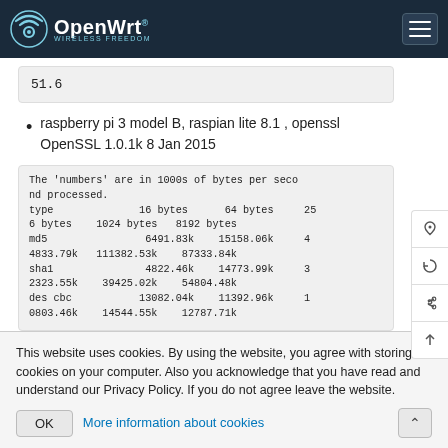OpenWrt — WIRELESS FREEDOM
51.6
raspberry pi 3 model B, raspian lite 8.1 , openssl OpenSSL 1.0.1k 8 Jan 2015
The 'numbers' are in 1000s of bytes per second processed.
type                 16 bytes      64 bytes     256 bytes    1024 bytes   8192 bytes
md5                  6491.83k    15158.06k    44833.79k   111382.53k    87333.84k
sha1                 4822.46k    14773.99k    32323.55k    39425.02k    54804.48k
des cbc             13082.04k    11392.96k    10803.46k    14544.55k    12787.71k
This website uses cookies. By using the website, you agree with storing cookies on your computer. Also you acknowledge that you have read and understand our Privacy Policy. If you do not agree leave the website.